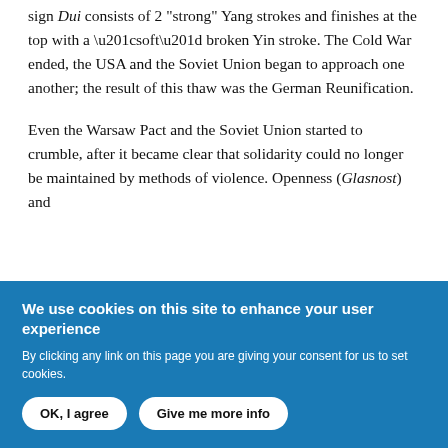sign Dui consists of 2 "strong" Yang strokes and finishes at the top with a “soft” broken Yin stroke. The Cold War ended, the USA and the Soviet Union began to approach one another; the result of this thaw was the German Reunification.
Even the Warsaw Pact and the Soviet Union started to crumble, after it became clear that solidarity could no longer be maintained by methods of violence. Openness (Glasnost) and
We use cookies on this site to enhance your user experience
By clicking any link on this page you are giving your consent for us to set cookies.